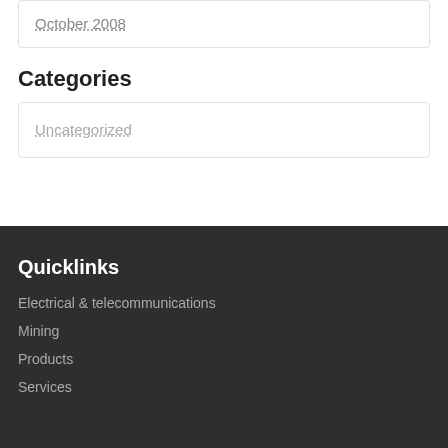October 2008
Categories
Uncategorized
Quicklinks
Electrical & telecommunications
Mining
Products
Services